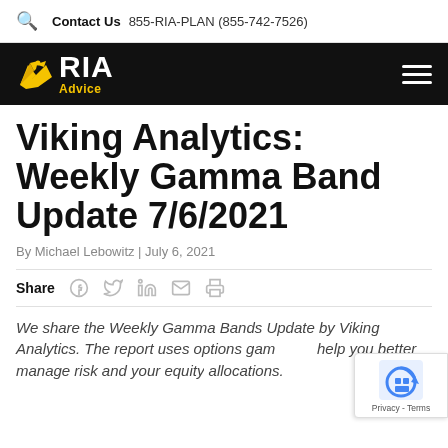Contact Us  855-RIA-PLAN (855-742-7526)
[Figure (logo): RIA Advice logo with eagle icon on black navigation bar with hamburger menu]
Viking Analytics: Weekly Gamma Band Update 7/6/2021
By Michael Lebowitz | July 6, 2021
Share [Facebook] [Twitter] [LinkedIn] [Email] [Print]
We share the Weekly Gamma Bands Update by Viking Analytics. The report uses options gam... help you better manage risk and your equity... allocations.